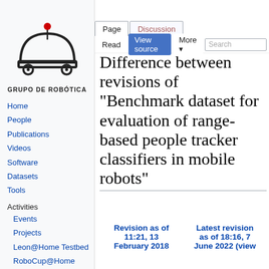Log in
[Figure (logo): Robot logo with semicircular body on wheels and antenna with red dot, labeled GRUPO DE ROBÓTICA]
Home
People
Publications
Videos
Software
Datasets
Tools
Activities
Events
Projects
Leon@Home Testbed
RoboCup@Home Team
Difference between revisions of "Benchmark dataset for evaluation of range-based people tracker classifiers in mobile robots"
| Revision as of 11:21, 13 February 2018 | Latest revision as of 18:16, 7 June 2022 (view |
| --- | --- |